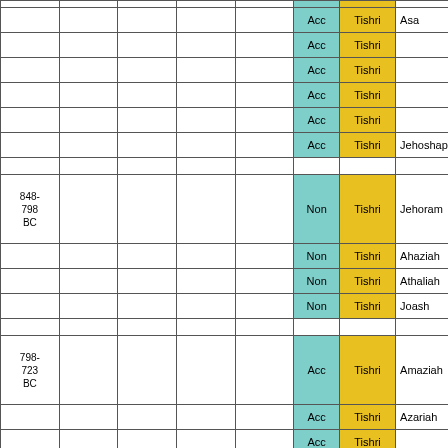|  |  |  |  |  | Acc | Tishri | Asa | Non | Nisan | Ba... |
|  |  |  |  |  | Acc | Tishri |  | Non | Nisan | El... |
|  |  |  |  |  | Acc | Tishri |  | Non | Nisan | Zi... |
|  |  |  |  |  | Acc | Tishri |  | Non | Nisan | Ti... |
|  |  |  |  |  | Acc | Tishri |  | Non | Nisan | Om... |
|  |  |  |  |  | Acc | Tishri | Jehoshaphat | Non | Nisan | Ah... |
|  |  |  |  |  |  |  |  |  |  |  |
| 848-798 BC |  |  |  |  | Non | Tishri | Jehoram | Non | Nisan | Ah... |
|  |  |  |  |  | Non | Tishri | Ahaziah | Non | Nisan | Jo... |
|  |  |  |  |  | Non | Tishri | Athaliah | Non | Nisan | Je... |
|  |  |  |  |  | Non | Tishri | Joash | Non | Nisan | Je... |
|  |  |  |  |  |  |  |  |  |  |  |
| 798-723 BC |  |  |  |  | Acc | Tishri | Amaziah | Acc | Nisan | Je... |
|  |  |  |  |  | Acc | Tishri | Azariah | Acc | Nisan | Je... |
|  |  |  |  |  | Acc | Tishri |  | Acc | Nisan | Ze... |
|  |  |  |  |  | Acc | Tishri |  | Acc | Nisan | Sh... |
|  |  |  |  |  | Acc | Tishri |  | Acc | Nisan | Me... |
|  |  |  |  |  | Acc | Tishri | Jotham | Acc | Nisan | Pe... |
|  |  |  |  |  | Acc | Tishri | Ahaz | Acc | Nisan | Pe... |